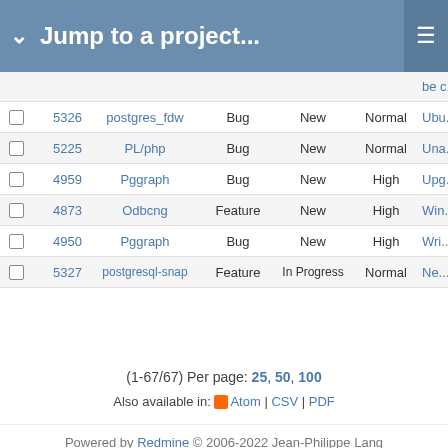Jump to a project...
|  | # | Project | Tracker | Status | Priority | Subject |
| --- | --- | --- | --- | --- | --- | --- |
|  |  |  |  |  |  | ...be c... |
|  | 5326 | postgres_fdw | Bug | New | Normal | Ubu... Em... |
|  | 5225 | PL/php | Bug | New | Normal | Una... PL/... (PH... |
|  | 4959 | Pggraph | Bug | New | High | Upg... pgg... pgg... |
|  | 4873 | Odbcng | Feature | New | High | Win... |
|  | 4950 | Pggraph | Bug | New | High | Wri... |
|  | 5327 | postgresql-snap | Feature | In Progress | Normal | Ne... pac... cre... |
(1-67/67) Per page: 25, 50, 100
Also available in: Atom | CSV | PDF
Powered by Redmine © 2006-2022 Jean-Philippe Lang